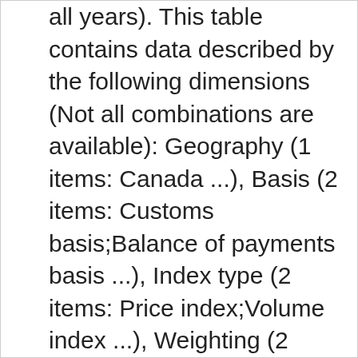all years). This table contains data described by the following dimensions (Not all combinations are available): Geography (1 items: Canada ...), Basis (2 items: Customs basis;Balance of payments basis ...), Index type (2 items: Price index;Volume index ...), Weighting (2 items: Paasche current weighted;Laspeyres fixed weighted ...), Seasonal adjustment (2 items: Unadjusted;Seasonally adjusted ...), Merchandise import and export sectors and sub-sectors (54 items: Imports; total of all